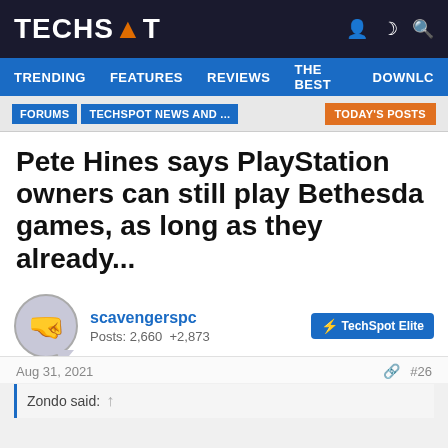TECHSPOT
TRENDING FEATURES REVIEWS THE BEST DOWNLO
FORUMS TECHSPOT NEWS AND ... TODAY'S POSTS
Pete Hines says PlayStation owners can still play Bethesda games, as long as they already...
Cal Jeffrey · Aug 30, 2021
scavengerspc
Posts: 2,660  +2,873
TechSpot Elite
Aug 31, 2021  #26
Zondo said: